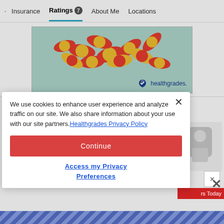Insurance | Ratings 7 | About Me | Locations
[Figure (photo): Red and yellow capsule pills scattered on a teal/mint green background with Healthgrades logo in the lower right]
You May Also Like
We use cookies to enhance user experience and analyze traffic on our site. We also share information about your use with our site partners. Healthgrades Privacy Policy
Continue
Access my Privacy Preferences